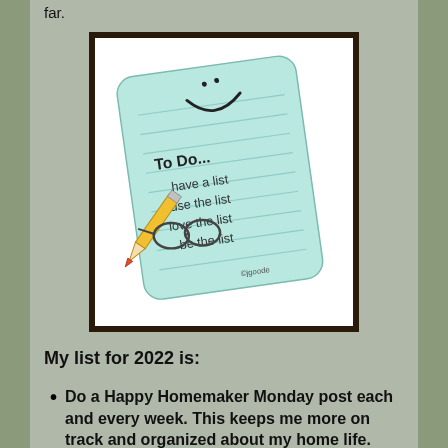far.
[Figure (illustration): Cartoon illustration of a smiling to-do list notepad with a pencil, reading: To DO... have a list, use the list, love the list, be the list. Copyright jgoode.]
My list for 2022 is:
Do a Happy Homemaker Monday post each and every week. This keeps me more on track and organized about my home life. Doing Happy Homemaker Monday so